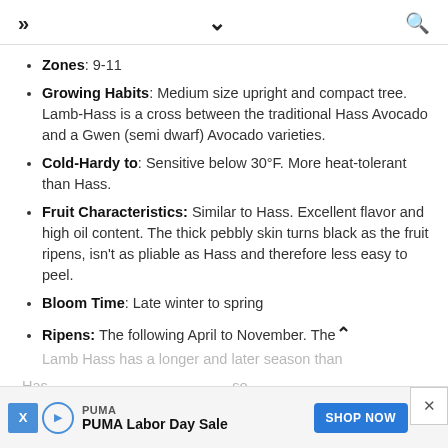» ∨ 🔍
Zones: 9-11
Growing Habits: Medium size upright and compact tree. Lamb-Hass is a cross between the traditional Hass Avocado and a Gwen (semi dwarf) Avocado varieties.
Cold-Hardy to: Sensitive below 30°F. More heat-tolerant than Hass.
Fruit Characteristics: Similar to Hass. Excellent flavor and high oil content. The thick pebbly skin turns black as the fruit ripens, isn't as pliable as Hass and therefore less easy to peel.
Bloom Time: Late winter to spring
Ripens: The following April to November. The Lamb Hass has a longer and later season than Hass and therefore also take… ve
[Figure (screenshot): PUMA advertisement banner: PUMA Labor Day Sale with SHOP NOW button in blue]